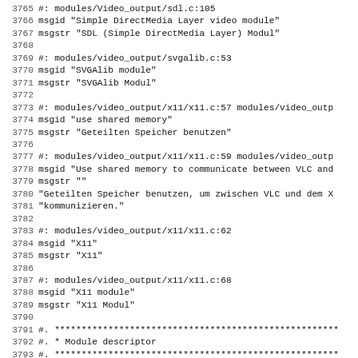3765 #: modules/Video_output/sdl.c:105
3766 msgid "Simple DirectMedia Layer video module"
3767 msgstr "SDL (Simple DirectMedia Layer) Modul"
3768 
3769 #: modules/video_output/svgalib.c:53
3770 msgid "SVGAlib module"
3771 msgstr "SVGAlib Modul"
3772 
3773 #: modules/video_output/x11/x11.c:57 modules/video_outp
3774 msgid "use shared memory"
3775 msgstr "Geteilten Speicher benutzen"
3776 
3777 #: modules/video_output/x11/x11.c:59 modules/video_outp
3778 msgid "Use shared memory to communicate between VLC and
3779 msgstr ""
3780 "Geteilten Speicher benutzen, um zwischen VLC und dem X
3781 "kommunizieren."
3782 
3783 #: modules/video_output/x11/x11.c:62
3784 msgid "X11"
3785 msgstr "X11"
3786 
3787 #: modules/video_output/x11/x11.c:68
3788 msgid "X11 module"
3789 msgstr "X11 Modul"
3790 
3791 #. ***********************************************************
3792 #. * Module descriptor
3793 #. ***********************************************************
3794 #: modules/video_output/x11/xvideo.c:44
3795 msgid "XVideo adaptor number"
3796 msgstr "XVideo Adapter Nummer"